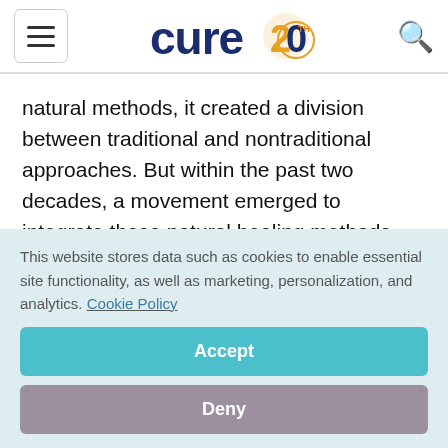[Figure (logo): CURE 20th Anniversary logo with hamburger menu icon and search icon in header navigation]
natural methods, it created a division between traditional and nontraditional approaches. But within the past two decades, a movement emerged to integrate these natural healing methods with traditional cancer therapies.
Integrative therapy functions as a complement to
This website stores data such as cookies to enable essential site functionality, as well as marketing, personalization, and analytics. Cookie Policy
Accept
Deny